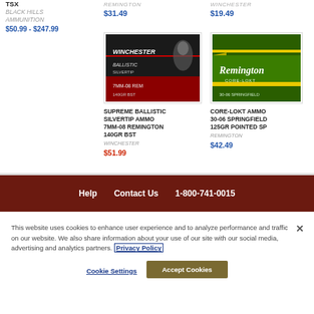TSX
BLACK HILLS AMMUNITION
$50.99 - $247.99
REMINGTON
$31.49
WINCHESTER
$19.49
[Figure (photo): Winchester Ballistic Silvertip ammunition box, black packaging with red accents]
[Figure (photo): Remington Core-Lokt ammunition box, green and yellow packaging]
SUPREME BALLISTIC SILVERTIP AMMO 7MM-08 REMINGTON 140GR BST
WINCHESTER
$51.99
CORE-LOKT AMMO 30-06 SPRINGFIELD 125GR POINTED SP
REMINGTON
$42.49
Help   Contact Us   1-800-741-0015
This website uses cookies to enhance user experience and to analyze performance and traffic on our website. We also share information about your use of our site with our social media, advertising and analytics partners. Privacy Policy
Cookie Settings
Accept Cookies